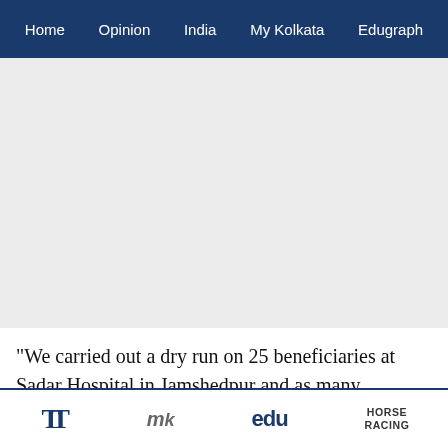Home  Opinion  India  My Kolkata  Edugraph
[Figure (other): Advertisement placeholder area (gray background)]
"We carried out a dry run on 25 beneficiaries at Sadar Hospital in Jamshedpur and as many beneficiaries at the government hospital in Ghatshila. All those subjected to the dry run were the health department
TT  My  edu  HORSE RACING